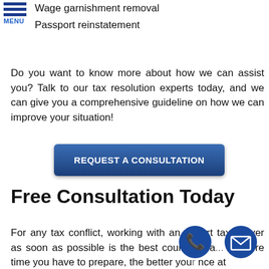Wage garnishment removal
Passport reinstatement
Do you want to know more about how we can assist you? Talk to our tax resolution experts today, and we can give you a comprehensive guideline on how we can improve your situation!
[Figure (other): Blue gradient button with text REQUEST A CONSULTATION]
Free Consultation Today
For any tax conflict, working with an expert tax lawyer as soon as possible is the best course of a... The more time you have to prepare, the better you...nce...at achieving a favorable outcome.
[Figure (other): Blue circular phone icon]
[Figure (other): Blue circular email/envelope icon]